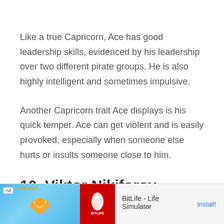Like a true Capricorn, Ace has good leadership skills, evidenced by his leadership over two different pirate groups. He is also highly intelligent and sometimes impulsive.
Another Capricorn trait Ace displays is his quick temper. Ace can get violent and is easily provoked, especially when someone else hurts or insults someone close to him.
10. Viktor Nikiforov
[Figure (screenshot): Advertisement banner for BitLife - Life Simulator app with muscle icon on blue background and red BitLife logo icon]